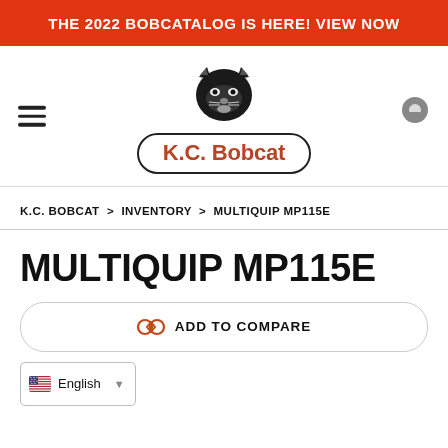THE 2022 BOBCATALOG IS HERE! VIEW NOW
[Figure (logo): K.C. Bobcat logo with bobcat face illustration above the K.C. Bobcat wordmark in a pill-shaped border]
K.C. BOBCAT > INVENTORY > MULTIQUIP MP115E
MULTIQUIP MP115E
ADD TO COMPARE
English